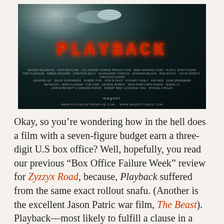[Figure (photo): Movie poster for 'Playback' — dark teal/dark background with scanline texture, a comet or spacecraft in the upper portion, the title 'PLAYBACK' in large red LED-style letters, followed by production credits in small text, a Magnet logo, and website URLs: WWW.PLAYBACKTHEMOVIE.COM and WWW.MAGPICTURES.COM]
Okay, so you’re wondering how in the hell does a film with a seven-figure budget earn a three-digit U.S box office? Well, hopefully, you read our previous “Box Office Failure Week” review for Zyzzyx Road, because, Playback suffered from the same exact rollout snafu. (Another is the excellent Jason Patric war film, The Beast). Playback—most likely to fulfill a clause in a SAG or IATSE agreement—played in one theatre (location unknown), once-a-day for